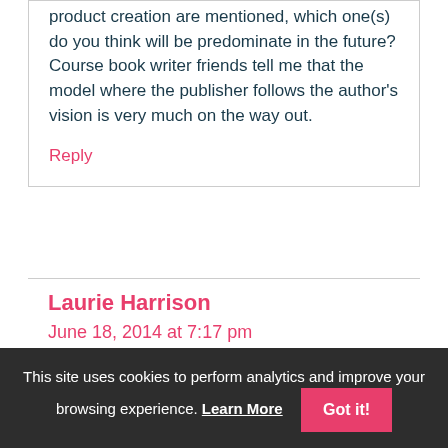product creation are mentioned, which one(s) do you think will be predominate in the future? Course book writer friends tell me that the model where the publisher follows the author's vision is very much on the way out.
Reply
Laurie Harrison
June 18, 2014 at 7:17 pm
This site uses cookies to perform analytics and improve your browsing experience. Learn More Got it!